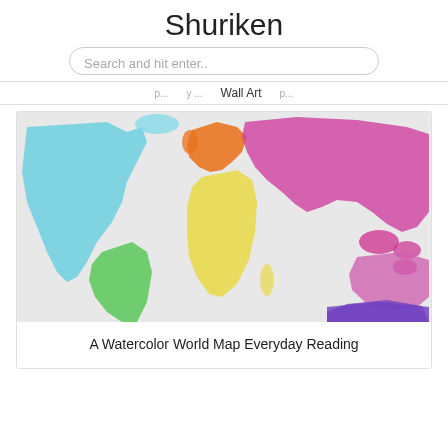Shuriken
Search and hit enter..
Wall Art
[Figure (map): A colorful watercolor-style world map with continents in different colors: North America in light blue, South America in green, Europe in orange, Africa in yellow, Asia in pink/magenta, Australia/Oceania in pink, and Antarctica/southern region in purple.]
A Watercolor World Map Everyday Reading